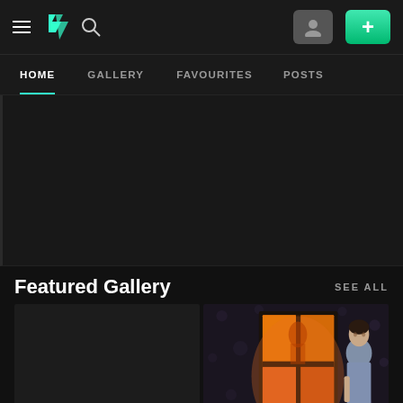DeviantArt navigation bar with hamburger menu, DA logo, search icon, user button, and + button
HOME | GALLERY | FAVOURITES | POSTS
[Figure (screenshot): Dark banner/content area placeholder]
Featured Gallery
SEE ALL
[Figure (photo): Left gallery thumbnail - dark empty placeholder]
[Figure (illustration): Right gallery thumbnail - illustration of a person standing near a glowing window with orange light, dark floral background]